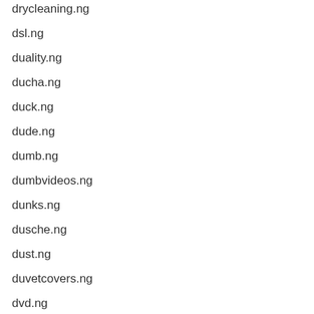drycleaning.ng
dsl.ng
duality.ng
ducha.ng
duck.ng
dude.ng
dumb.ng
dumbvideos.ng
dunks.ng
dusche.ng
dust.ng
duvetcovers.ng
dvd.ng
dvdfilm.ng
dvdmovies.ng